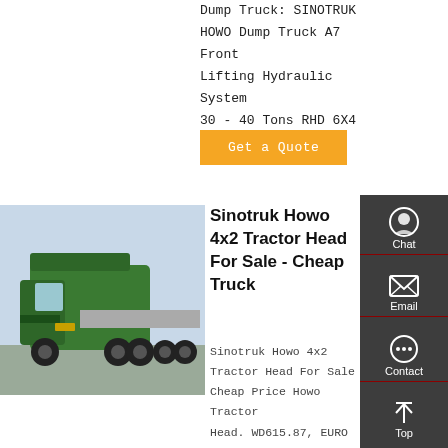Dump Truck: SINOTRUK HOWO Dump Truck A7 Front Lifting Hydraulic System 30 - 40 Tons RHD 6X4
Get a Quote
[Figure (photo): Green Sinotruk Howo 4x2 tractor head truck, front-left angle view, flatbed trailer attached]
Sinotruk Howo 4x2 Tractor Head For Sale - Cheap Truck
Sinotruk Howo 4x2 Tractor Head For Sale Cheap Price Howo Tractor Head. WD615.87, EURO II Emission Standard,
[Figure (infographic): Sidebar with chat, email, contact, and top navigation icons on dark gray background]